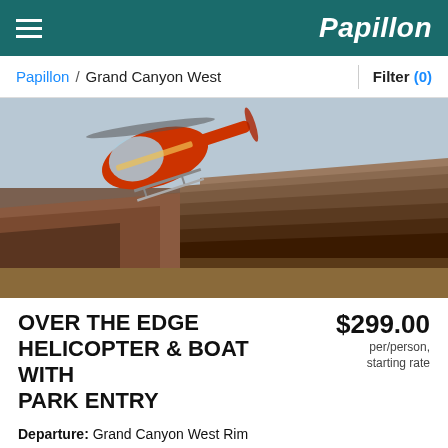Papillon
Papillon / Grand Canyon West   Filter (0)
[Figure (photo): Red helicopter flying over the Grand Canyon West Rim with layered canyon rock formations in the background]
OVER THE EDGE HELICOPTER & BOAT WITH PARK ENTRY
$299.00 per/person, starting rate
Departure: Grand Canyon West Rim
Duration: Tour Time Varies
Features: Land at the Bottom | Views of Grand Canyon West | Grand Canyon West | Colorado River | Helicopter | Boat
See the West Rim from above on a helicopter tour, then from